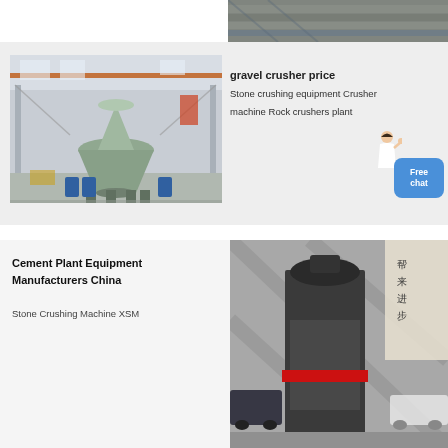[Figure (photo): Top partial image showing steel/industrial material stacked, partially visible at top right]
[Figure (photo): Gravel crusher machine in an industrial factory hall with overhead crane and blue barrels]
gravel crusher price
Stone crushing equipment Crusher machine Rock crushers plant
[Figure (photo): Customer service representative with Free chat button overlay]
Cement Plant Equipment Manufacturers China
Stone Crushing Machine XSM
[Figure (photo): Dark industrial cone crusher machine with red band, Chinese sign in background, cars visible]